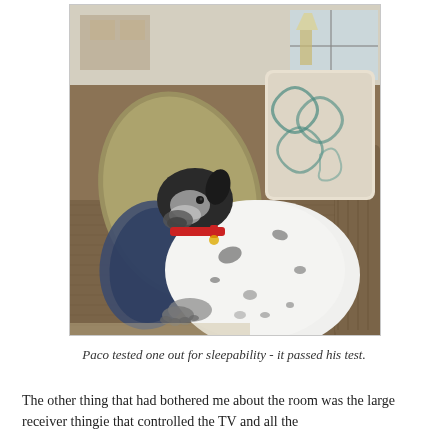[Figure (photo): A black and white spotted dog wearing a red collar, curled up and resting on a brown corduroy sofa surrounded by decorative pillows including a tan pillow and a teal/cream patterned pillow. The room appears to be a living room interior.]
Paco tested one out for sleepability - it passed his test.
The other thing that had bothered me about the room was the large receiver thingie that controlled the TV and all the